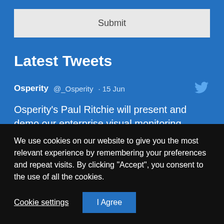Submit
Latest Tweets
Osperity @_Osperity · 15 Jun
Osperity's Paul Ritchie will present and demo our enterprise visual monitoring solution for exception-based management.
We use cookies on our website to give you the most relevant experience by remembering your preferences and repeat visits. By clicking "Accept", you consent to the use of all the cookies.
Cookie settings
I Agree